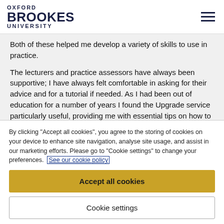OXFORD BROOKES UNIVERSITY
Both of these helped me develop a variety of skills to use in practice.

The lecturers and practice assessors have always been supportive; I have always felt comfortable in asking for their advice and for a tutorial if needed. As I had been out of education for a number of years I found the Upgrade service particularly useful, providing me with essential tips on how to structure my essay...
By clicking "Accept all cookies", you agree to the storing of cookies on your device to enhance site navigation, analyse site usage, and assist in our marketing efforts. Please go to "Cookie settings" to change your preferences. See our cookie policy
Accept all cookies
Cookie settings